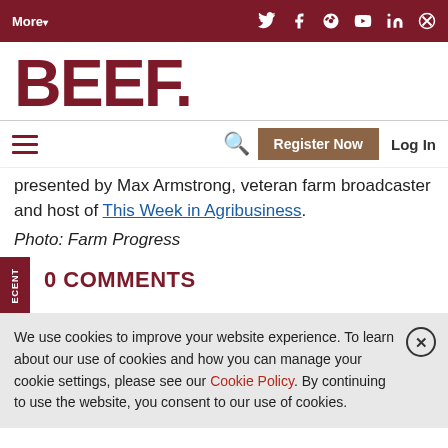More▾ [social icons: Twitter, Facebook, Google+, YouTube, LinkedIn, RSS]
[Figure (logo): BEEF magazine logo in dark red, large bold serif text]
presented by Max Armstrong, veteran farm broadcaster and host of This Week in Agribusiness.
Photo: Farm Progress
0 COMMENTS
We use cookies to improve your website experience. To learn about our use of cookies and how you can manage your cookie settings, please see our Cookie Policy. By continuing to use the website, you consent to our use of cookies.